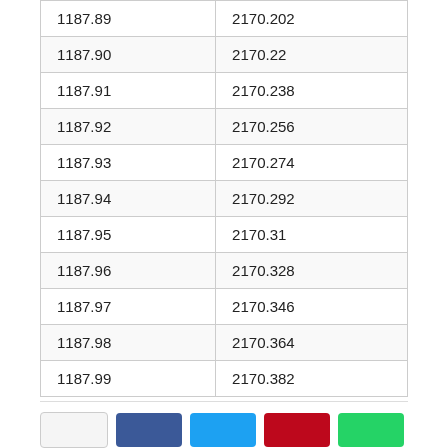| 1187.89 | 2170.202 |
| 1187.90 | 2170.22 |
| 1187.91 | 2170.238 |
| 1187.92 | 2170.256 |
| 1187.93 | 2170.274 |
| 1187.94 | 2170.292 |
| 1187.95 | 2170.31 |
| 1187.96 | 2170.328 |
| 1187.97 | 2170.346 |
| 1187.98 | 2170.364 |
| 1187.99 | 2170.382 |